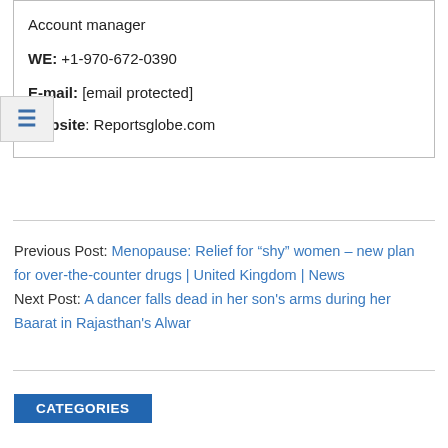Account manager
WE: +1-970-672-0390
E-mail: [email protected]
Website: Reportsglobe.com
Previous Post: Menopause: Relief for “shy” women – new plan for over-the-counter drugs | United Kingdom | News
Next Post: A dancer falls dead in her son's arms during her Baarat in Rajasthan's Alwar
CATEGORIES